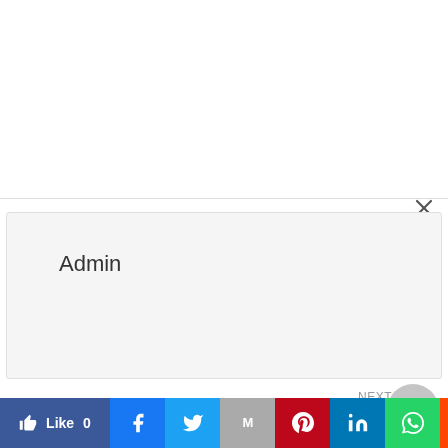[Figure (screenshot): Close button X in top right of modal overlay]
Admin
NEXT
Why Do Hindus Put on Tilak or Tik »
[Figure (other): Next navigation circle button with triangle play icon]
[Figure (screenshot): Social sharing bar with Like, Facebook, Twitter, Gmail, Pinterest, LinkedIn, WhatsApp, Reddit, Flipboard buttons]